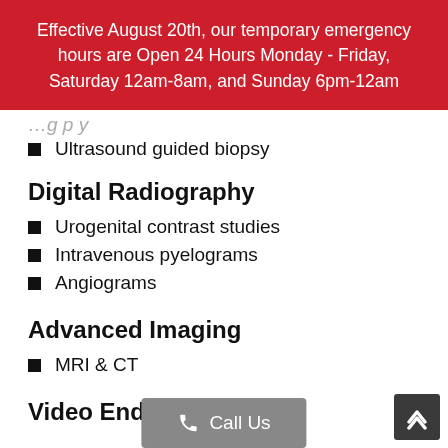Effective August 20th, our temporary emergency hours are Open 24 Hours Monday - Friday, Saturday 12am-8am, and Sunday 6pm-12am
Ultrasound guided biopsy
Digital Radiography
Urogenital contrast studies
Intravenous pyelograms
Angiograms
Advanced Imaging
MRI & CT
Video Endoscop…